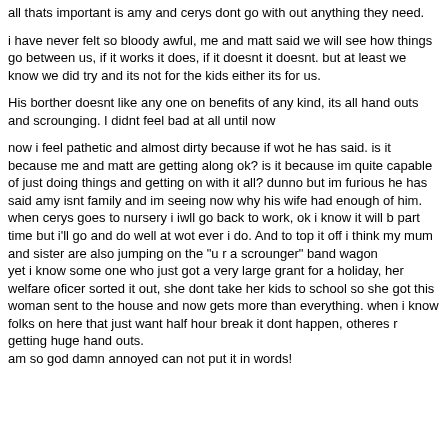all thats important is amy and cerys dont go with out anything they need.
i have never felt so bloody awful, me and matt said we will see how things go between us, if it works it does, if it doesnt it doesnt. but at least we know we did try and its not for the kids either its for us.
His borther doesnt like any one on benefits of any kind, its all hand outs and scrounging. I didnt feel bad at all until now
now i feel pathetic and almost dirty because if wot he has said. is it because me and matt are getting along ok? is it because im quite capable of just doing things and getting on with it all? dunno but im furious he has said amy isnt family and im seeing now why his wife had enough of him. when cerys goes to nursery i iwll go back to work, ok i know it will b part time but i'll go and do well at wot ever i do. And to top it off i think my mum and sister are also jumping on the "u r a scrounger" band wagon
yet i know some one who just got a very large grant for a holiday, her welfare oficer sorted it out, she dont take her kids to school so she got this woman sent to the house and now gets more than everything. when i know folks on here that just want half hour break it dont happen, otheres r getting huge hand outs.
am so god damn annoyed can not put it in words!